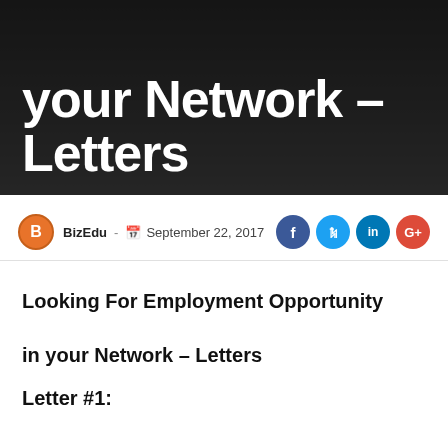[Figure (photo): Dark hero banner image with silhouettes of people in background, overlaid with large white bold title text: 'your Network – Letters']
BizEdu - September 22, 2017
Looking For Employment Opportunity in your Network – Letters
Letter #1: